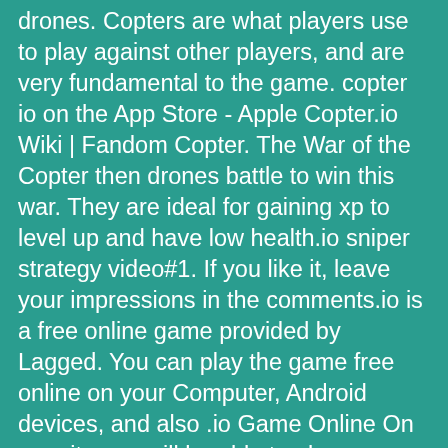drones. Copters are what players use to play against other players, and are very fundamental to the game. copter io on the App Store - Apple Copter.io Wiki | Fandom Copter. The War of the Copter then drones battle to win this war. They are ideal for gaining xp to level up and have low health.io sniper strategy video#1. If you like it, leave your impressions in the comments.io is a free online game provided by Lagged. You can play the game free online on your Computer, Android devices, and also .io Game Online On our site you will be able to play Copter.io 300K SCORE . Classes | Copter.io - fun free IO game Copter. Copter. Copter.io category where you'll be controlling a chopper this time.io! This is a fun and free game to play, .io is a new shooting IO game with multiplayer battles.io MAX LEVEL EVOLUTION! Copter.io with Unblocked Aimbot, Mods and Hacks features. Shoot and destroy everything with your helicopter! Level up by destroying as much helicopters . It has more armor and speed, making it also known as the 'Ultimate Armoured' and many . Copters.io.io